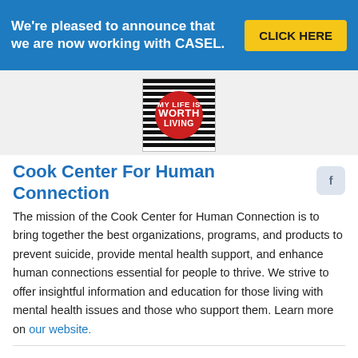We're pleased to announce that we are now working with CASEL.
[Figure (logo): My Life Is Worth Living logo — red circle with white bold text on black and white horizontal stripes background]
Cook Center For Human Connection
[Figure (logo): Facebook icon in a rounded square]
The mission of the Cook Center for Human Connection is to bring together the best organizations, programs, and products to prevent suicide, provide mental health support, and enhance human connections essential for people to thrive. We strive to offer insightful information and education for those living with mental health issues and those who support them. Learn more on our website.